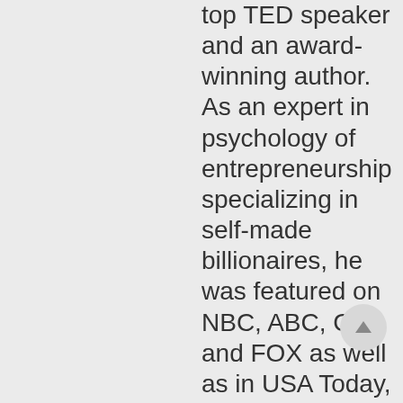top TED speaker and an award-winning author. As an expert in psychology of entrepreneurship specializing in self-made billionaires, he was featured on NBC, ABC, CBS and FOX as well as in USA Today, Wall Street Journal and